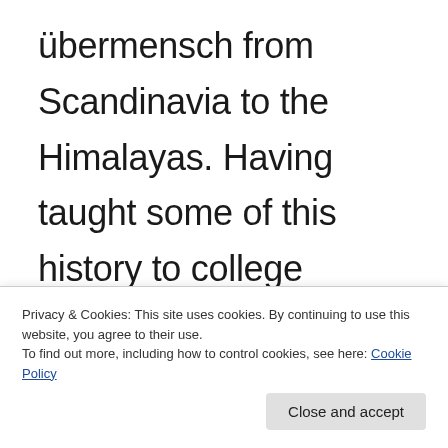übermensch from Scandinavia to the Himalayas. Having taught some of this history to college students over the last few years, it's always a challenge to get young folks new to South Asian linguistic and religious histories of
Privacy & Cookies: This site uses cookies. By continuing to use this website, you agree to their use.
To find out more, including how to control cookies, see here: Cookie Policy